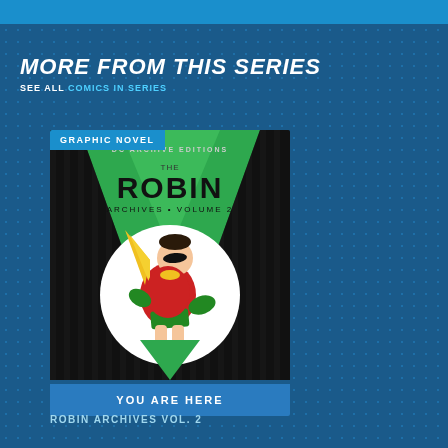MORE FROM THIS SERIES
SEE ALL COMICS IN SERIES
[Figure (illustration): Book cover for Robin Archives Volume 2, a DC Comics Archive Editions graphic novel featuring Robin in classic costume on a dark background with green triangle design]
YOU ARE HERE
ROBIN ARCHIVES VOL. 2